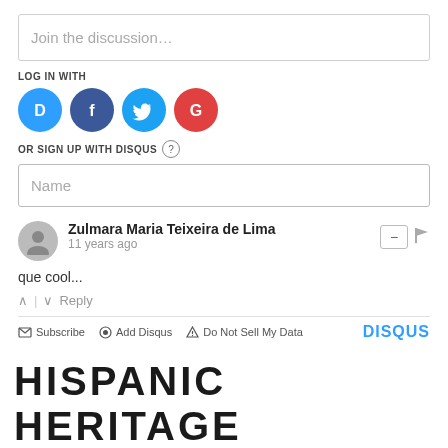Join the discussion…
LOG IN WITH
[Figure (illustration): Social login icons: Disqus (blue circle with D), Facebook (dark blue circle with f), Twitter (light blue circle with bird), Google (red circle with G)]
OR SIGN UP WITH DISQUS ?
Name
Zulmara Maria Teixeira de Lima
11 years ago
que cool...
^ | v   Reply
Subscribe   Add Disqus   Do Not Sell My Data   DISQUS
HISPANIC HERITAGE